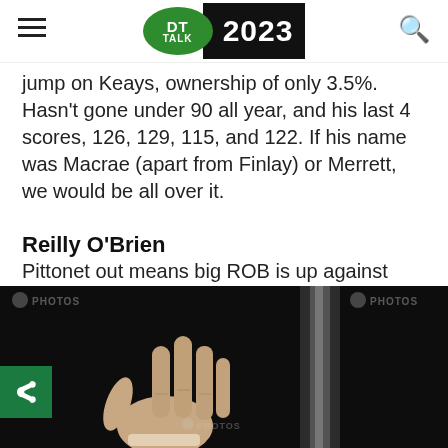DT TALK 2023
jump on Keays, ownership of only 3.5%. Hasn't gone under 90 all year, and his last 4 scores, 126, 129, 115, and 122. If his name was Macrae (apart from Finlay) or Merrett, we would be all over it.
Reilly O'Brien
Pittonet out means big ROB is up against TDK. Great matchup for him and should reward his owners.
[Figure (photo): Dark photo showing a raised hand/arm with fingers spread, against a dark background. AFLPHOTOS watermarks visible in top-left and top-right corners.]